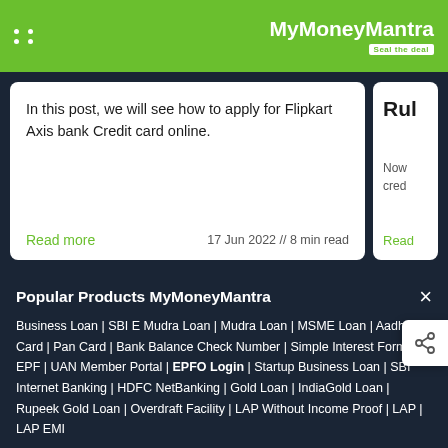MyMoneyMantra — Seal the deal
In this post, we will see how to apply for Flipkart Axis bank Credit card online.
Read more  17 Jun 2022 // 8 min read
Rul
Now cred
Read
Popular Products MyMoneyMantra
Business Loan | SBI E Mudra Loan | Mudra Loan | MSME Loan | Aadhaar Card | Pan Card | Bank Balance Check Number | Simple Interest Formula | EPF | UAN Member Portal | EPFO Login | Startup Business Loan | SBI Internet Banking | HDFC NetBanking | Gold Loan | IndiaGold Loan | Rupeek Gold Loan | Overdraft Facility | LAP Without Income Proof | LAP | LAP EMI